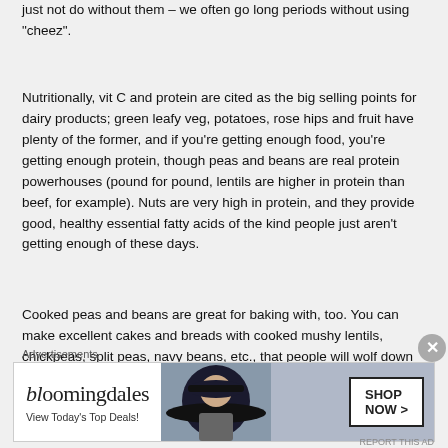just not do without them – we often go long periods without using "cheez".
Nutritionally, vit C and protein are cited as the big selling points for dairy products; green leafy veg, potatoes, rose hips and fruit have plenty of the former, and if you're getting enough food, you're getting enough protein, though peas and beans are real protein powerhouses (pound for pound, lentils are higher in protein than beef, for example). Nuts are very high in protein, and they provide good, healthy essential fatty acids of the kind people just aren't getting enough of these days.
Cooked peas and beans are great for baking with, too. You can make excellent cakes and breads with cooked mushy lentils, chickpeas, split peas, navy beans, etc., that people will wolf down (and then be shocked when they discover there's no dairy, no
Advertisements
[Figure (other): Bloomingdale's advertisement banner: logo text 'bloomingdales', tagline 'View Today's Top Deals!', image of woman in wide brim hat, 'SHOP NOW >' button in box.]